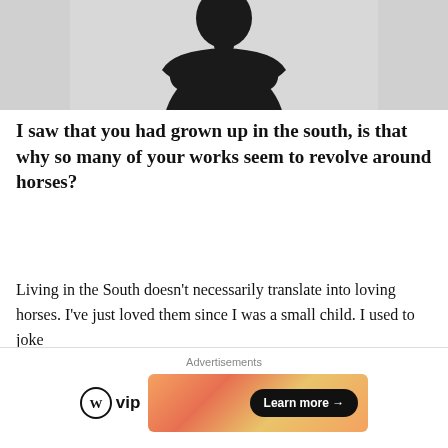[Figure (photo): Partial photo of a person dressed in black with arms crossed, shown from the waist up against a grey background. Only the lower torso and arms area visible at top of page.]
I saw that you had grown up in the south, is that why so many of your works seem to revolve around horses?
Living in the South doesn't necessarily translate into loving horses. I've just loved them since I was a small child. I used to joke with some friends that friends have gone and
Advertisements
[Figure (logo): WordPress VIP logo (W circle icon followed by 'vip' text) on left, and a colorful gradient advertisement banner on right with a 'Learn more →' dark pill button.]